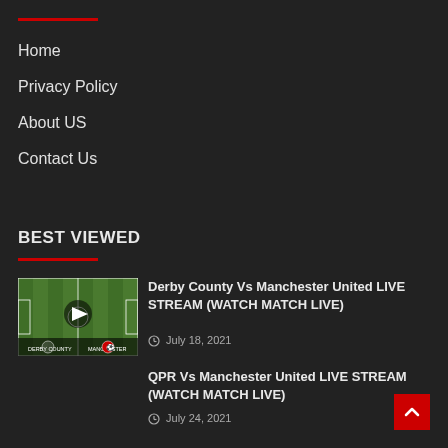Home
Privacy Policy
About US
Contact Us
BEST VIEWED
[Figure (screenshot): Soccer field thumbnail with play button overlay for Derby County Vs Manchester United match]
Derby County Vs Manchester United LIVE STREAM (WATCH MATCH LIVE)
July 18, 2021
QPR Vs Manchester United LIVE STREAM (WATCH MATCH LIVE)
July 24, 2021
Manchester United Vs Crystal Palace LIVE MATCH Updates!